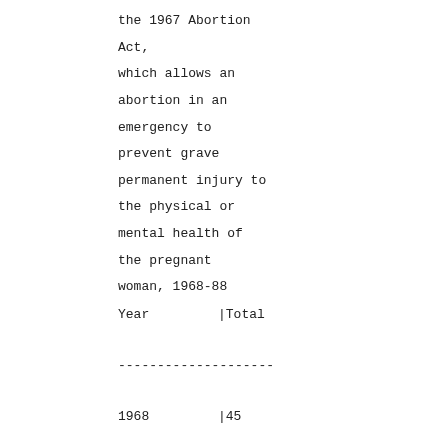the 1967 Abortion Act, which allows an abortion in an emergency to prevent grave permanent injury to the physical or mental health of the pregnant woman, 1968-88
| Year | Total |
| --- | --- |
| 1968 | 45 |
| 1969 | 31 |
| 1970 | 36 |
| 1971 | 12 |
| 1972 | 15 |
| 1973 | 12 |